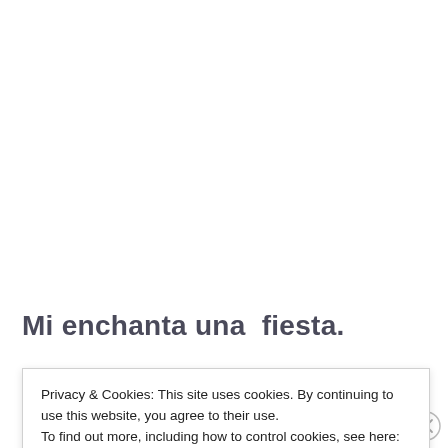Mi enchanta una  fiesta.
I know you love a party too, so join us at
Privacy & Cookies: This site uses cookies. By continuing to use this website, you agree to their use.
To find out more, including how to control cookies, see here: Cookie Policy
Close and accept